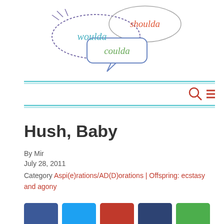[Figure (logo): Woulda Coulda Shoulda blog logo with three overlapping speech bubbles containing the words 'woulda' (teal), 'coulda' (green), and 'shoulda' (red/orange) in script font, drawn in a sketch style]
[Figure (other): Navigation bar with search icon (magnifying glass in red) and hamburger menu icon (three red horizontal lines)]
Hush, Baby
By Mir
July 28, 2011
Category Aspi(e)rations/AD(D)orations | Offspring: ecstasy and agony
[Figure (other): Row of social sharing buttons: dark blue (Facebook), light blue (Twitter), red, dark blue/navy, green]